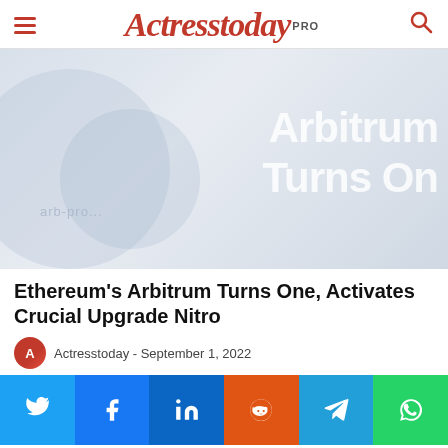Actresstoday PRO
[Figure (photo): Hero image with light blue-grey gradient background, a partial circular shape on the left, and bold white text reading 'Arbitrum Turns On' on the right side.]
Ethereum's Arbitrum Turns One, Activates Crucial Upgrade Nitro
Actresstoday - September 1, 2022